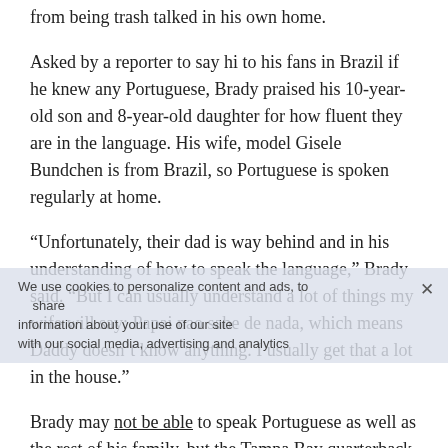from being trash talked in his own home.
Asked by a reporter to say hi to his fans in Brazil if he knew any Portuguese, Brady praised his 10-year-old son and 8-year-old daughter for how fluent they are in the language. His wife, model Gisele Bundchen is from Brazil, so Portuguese is spoken regularly at home.
“Unfortunately, their dad is way behind and in his understanding of how to speak the language,” Brady said. “But I can usually understand a lot of things my wife will say: Papai nao sabe de nada, which means Daddy doesn’t know anything. I usually get that a lot in the house.”
Brady may not be able to speak Portuguese as well as the rest of his family, but the Tampa Bay quarterback knows enough to understand most of what they’re saying, especially when it’s about him.